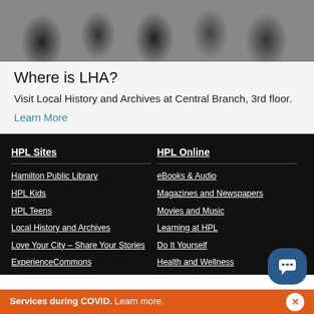[Figure (photo): Black and white photograph of people at what appears to be a historical event or gathering, partial view]
Where is LHA?
Visit Local History and Archives at Central Branch, 3rd floor.
Learn More
HPL Sites
Hamilton Public Library
HPL Kids
HPL Teens
Local History and Archives
Love Your City – Share Your Stories
ExperienceCommons
HPL Online
eBooks & Audio
Magazines and Newspapers
Movies and Music
Learning at HPL
Do It Yourself
Health and Wellness
Services during COVID. Learn more.